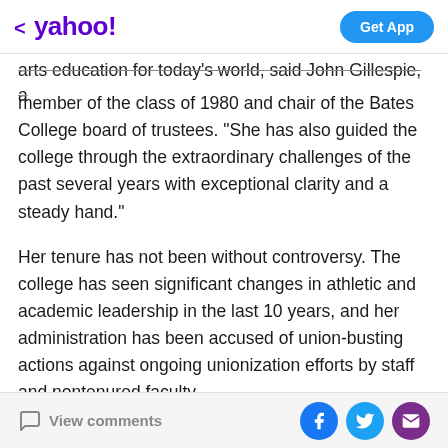< yahoo!  Get App
arts education for today's world, said John Gillespie, a member of the class of 1980 and chair of the Bates College board of trustees. "She has also guided the college through the extraordinary challenges of the past several years with exceptional clarity and a steady hand."
Her tenure has not been without controversy. The college has seen significant changes in athletic and academic leadership in the last 10 years, and her administration has been accused of union-busting actions against ongoing unionization efforts by staff and nontenured faculty.
Her administration has also faced criticism over its handling of race-related problems, with at least two
View comments